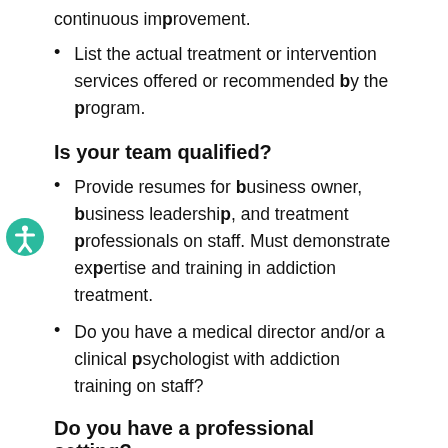continuous improvement.
List the actual treatment or intervention services offered or recommended by the program.
Is your team qualified?
Provide resumes for business owner, business leadership, and treatment professionals on staff. Must demonstrate expertise and training in addiction treatment.
Do you have a medical director and/or a clinical psychologist with addiction training on staff?
Do you have a professional setting?